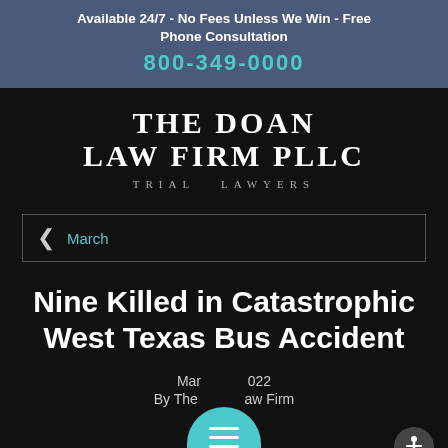Available 24/7 - No Fees Unless We Win - Free Phone Consultation
800-349-0000
[Figure (logo): The Doan Law Firm PLLC Trial Lawyers logo in white text on dark background]
March
Nine Killed in Catastrophic West Texas Bus Accident
March 2022
By The Doan Law Firm